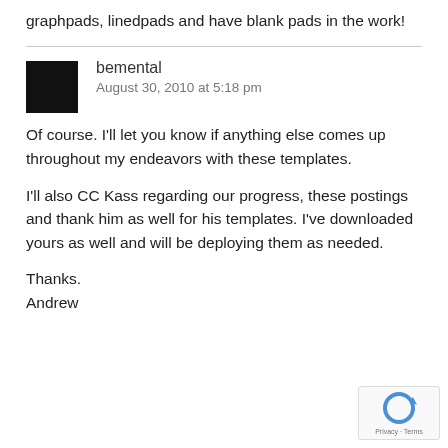graphpads, linedpads and have blank pads in the work!
bemental
August 30, 2010 at 5:18 pm
Of course. I'll let you know if anything else comes up throughout my endeavors with these templates.
I'll also CC Kass regarding our progress, these postings and thank him as well for his templates. I've downloaded yours as well and will be deploying them as needed.
Thanks.
Andrew